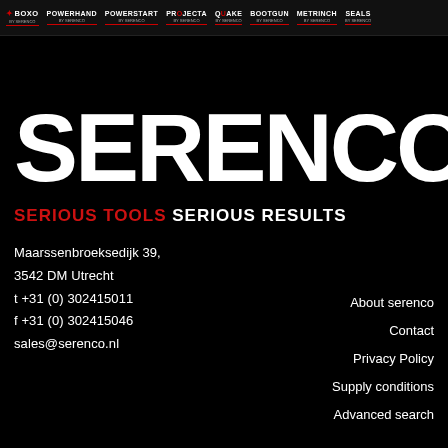BOXO POWERHAND POWERSTART PROJECTA QUAKE BOOTGUN METRINCH SEALS
SERENCO
SERIOUS TOOLS SERIOUS RESULTS
Maarssenbroeksedijk 39, 3542 DM Utrecht
t +31 (0) 302415011
f +31 (0) 302415046
sales@serenco.nl
About serenco
Contact
Privacy Policy
Supply conditions
Advanced search